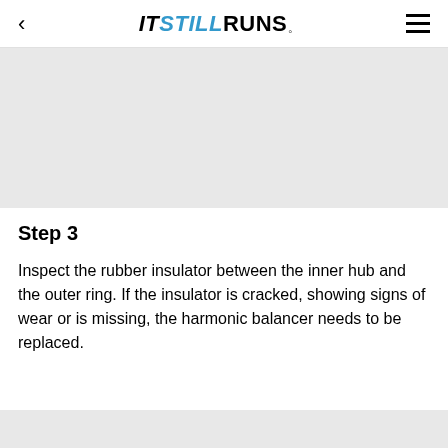ITSTILLRUNS.
[Figure (photo): Gray placeholder image area at top of article]
Step 3
Inspect the rubber insulator between the inner hub and the outer ring. If the insulator is cracked, showing signs of wear or is missing, the harmonic balancer needs to be replaced.
[Figure (photo): Gray placeholder image area at bottom of article]